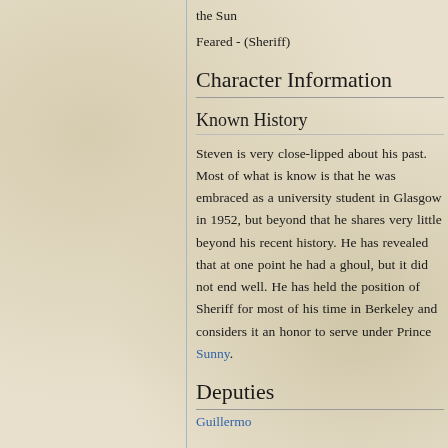the Sun
Feared - (Sheriff)
Character Information
Known History
Steven is very close-lipped about his past. Most of what is know is that he was embraced as a university student in Glasgow in 1952, but beyond that he shares very little beyond his recent history. He has revealed that at one point he had a ghoul, but it did not end well. He has held the position of Sheriff for most of his time in Berkeley and considers it an honor to serve under Prince Sunny.
Deputies
Guillermo